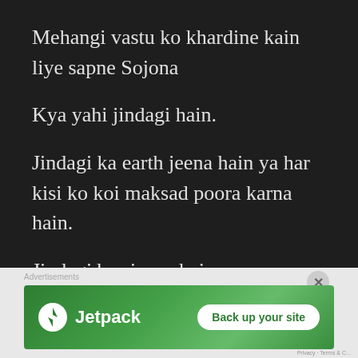Mehangi vastu ko khardine kain liye sapne Sojona
Kya yahi jindagi hain.
Jindagi ka earth jeena hain ya har kisi ko koi maksad poora karna hain.
Jindagi bas jeena hain.
Sapne bass sojna hain
[Figure (other): Jetpack advertisement banner with logo and 'Back up your site' button on green gradient background]